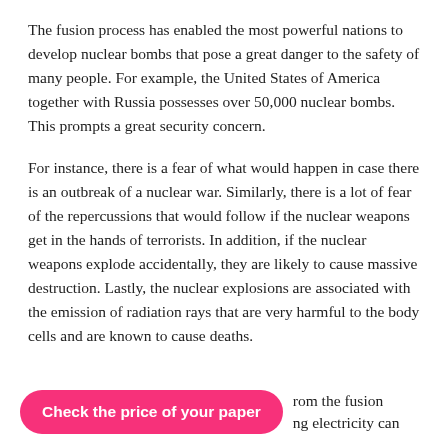The fusion process has enabled the most powerful nations to develop nuclear bombs that pose a great danger to the safety of many people. For example, the United States of America together with Russia possesses over 50,000 nuclear bombs. This prompts a great security concern.
For instance, there is a fear of what would happen in case there is an outbreak of a nuclear war. Similarly, there is a lot of fear of the repercussions that would follow if the nuclear weapons get in the hands of terrorists. In addition, if the nuclear weapons explode accidentally, they are likely to cause massive destruction. Lastly, the nuclear explosions are associated with the emission of radiation rays that are very harmful to the body cells and are known to cause deaths.
from the fusion
ing electricity can